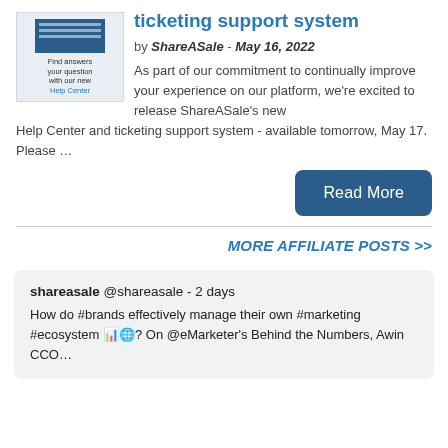[Figure (illustration): Thumbnail image showing a tablet/document with lines of text and a blue header image, with caption text 'Find answers your question with our new Help Center']
ticketing support system
by ShareASale - May 16, 2022
As part of our commitment to continually improve your experience on our platform, we're excited to release ShareASale's new Help Center and ticketing support system - available tomorrow, May 17. Please …
Read More
MORE AFFILIATE POSTS >>
shareasale @shareasale - 2 days
How do #brands effectively manage their own #marketing #ecosystem 📊🌐? On @eMarketer's Behind the Numbers, Awin CCO…